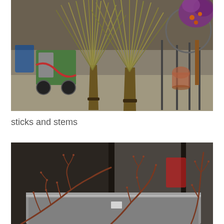[Figure (photo): Two large bundles of tall dried grass/reed stems standing upright on a concrete warehouse floor. Behind them is a green industrial cart with tanks, blue barrels, and metal shelving. On the right side is a circular metal ring structure with purple/orange floral arrangement.]
sticks and stems
[Figure (photo): Bare, thorny or budding branches/twigs (possibly rose or similar shrub canes) lying in or leaning against a large rectangular concrete planter/trough. Dark walls and a red object visible in the background.]